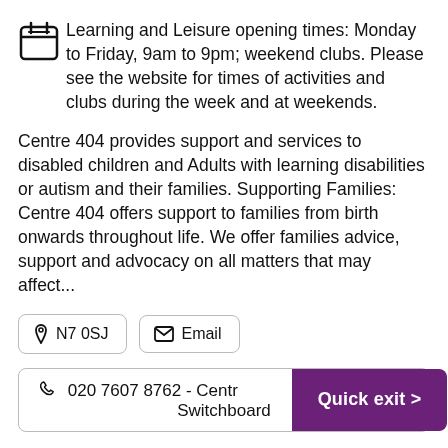Learning and Leisure opening times: Monday to Friday, 9am to 9pm; weekend clubs. Please see the website for times of activities and clubs during the week and at weekends.
Centre 404 provides support and services to disabled children and Adults with learning disabilities or autism and their families. Supporting Families: Centre 404 offers support to families from birth onwards throughout life. We offer families advice, support and advocacy on all matters that may affect...
N7 0SJ   Email
020 7607 8762 - Centre Switchboard